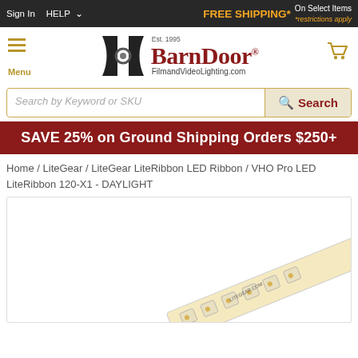Sign In | HELP | FREE SHIPPING* On Select Items *restrictions apply
[Figure (logo): BarnDoor FilmandVideoLighting.com logo with barn door icon, Est. 1995]
Search by Keyword or SKU Search
SAVE 25% on Ground Shipping Orders $250+
Home / LiteGear / LiteGear LiteRibbon LED Ribbon / VHO Pro LED LiteRibbon 120-X1 - DAYLIGHT
[Figure (photo): LED ribbon strip product photo, white PCB with LEDs visible on lower right portion of image]